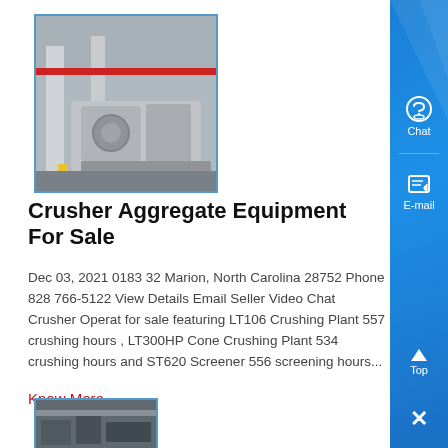[Figure (photo): Industrial crusher/aggregate machinery in a facility setting, showing large mechanical equipment with columns and piping]
Crusher Aggregate Equipment For Sale
Dec 03, 2021 0183 32 Marion, North Carolina 28752 Phone 828 766-5122 View Details Email Seller Video Chat Crusher Operation for sale featuring LT106 Crushing Plant 557 crushing hours , LT300HP Cone Crushing Plant 534 crushing hours and ST620 Screener 556 screening hours...
Know More
[Figure (photo): Partial view of another industrial/aggregate equipment unit at bottom of page]